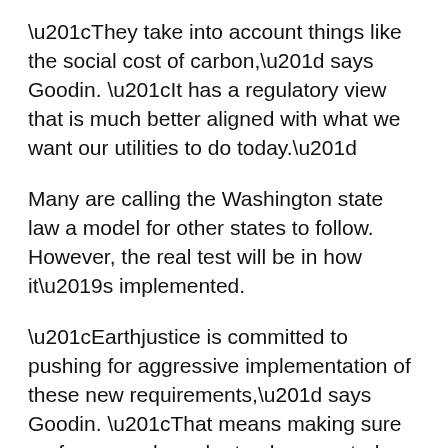“They take into account things like the social cost of carbon,” says Goodin. “It has a regulatory view that is much better aligned with what we want our utilities to do today.”
Many are calling the Washington state law a model for other states to follow. However, the real test will be in how it’s implemented.
“Earthjustice is committed to pushing for aggressive implementation of these new requirements,” says Goodin. “That means making sure performance-based rate plans are truly equitable and incorporate health and environmental benefits, pushing for strong rules implementing the new law, and stepping up to defend new requirements when industry challenges them.”